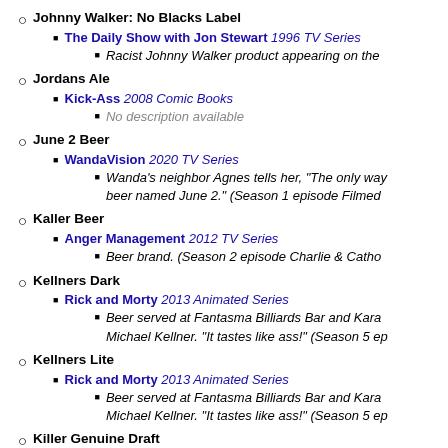Johnny Walker: No Blacks Label
The Daily Show with Jon Stewart 1996 TV Series
Racist Johnny Walker product appearing on the
Jordans Ale
Kick-Ass 2008 Comic Books
No description available
June 2 Beer
WandaVision 2020 TV Series
Wanda's neighbor Agnes tells her, "The only way beer named June 2." (Season 1 episode Filmed
Kaller Beer
Anger Management 2012 TV Series
Beer brand. (Season 2 episode Charlie & Catho
Kellners Dark
Rick and Morty 2013 Animated Series
Beer served at Fantasma Billiards Bar and Kara Michael Kellner. "It tastes like ass!" (Season 5 ep
Kellners Lite
Rick and Morty 2013 Animated Series
Beer served at Fantasma Billiards Bar and Kara Michael Kellner. "It tastes like ass!" (Season 5 ep
Killer Genuine Draft
Scary Movie 2000 Film
[Figure (photo): Photo from Scary Movie 2000 film showing a scene]